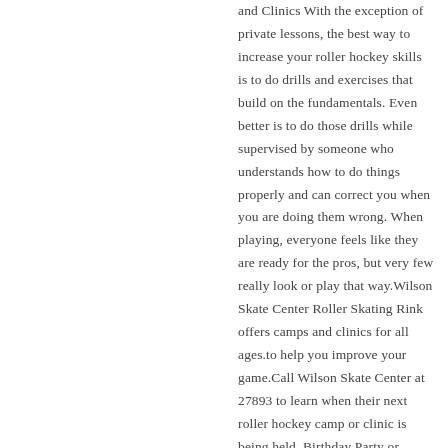and Clinics With the exception of private lessons, the best way to increase your roller hockey skills is to do drills and exercises that build on the fundamentals. Even better is to do those drills while supervised by someone who understands how to do things properly and can correct you when you are doing them wrong. When playing, everyone feels like they are ready for the pros, but very few really look or play that way.Wilson Skate Center Roller Skating Rink offers camps and clinics for all ages.to help you improve your game.Call Wilson Skate Center at 27893 to learn when their next roller hockey camp or clinic is being held. Birthday Party or Event Planning?